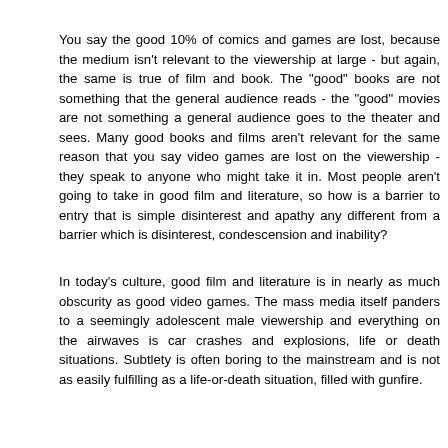You say the good 10% of comics and games are lost, because the medium isn't relevant to the viewership at large - but again, the same is true of film and book. The "good" books are not something that the general audience reads - the "good" movies are not something a general audience goes to the theater and sees. Many good books and films aren't relevant for the same reason that you say video games are lost on the viewership - they speak to anyone who might take it in. Most people aren't going to take in good film and literature, so how is a barrier to entry that is simple disinterest and apathy any different from a barrier which is disinterest, condescension and inability?
In today's culture, good film and literature is in nearly as much obscurity as good video games. The mass media itself panders to a seemingly adolescent male viewership and everything on the airwaves is car crashes and explosions, life or death situations. Subtlety is often boring to the mainstream and is not as easily fulfilling as a life-or-death situation, filled with gunfire.